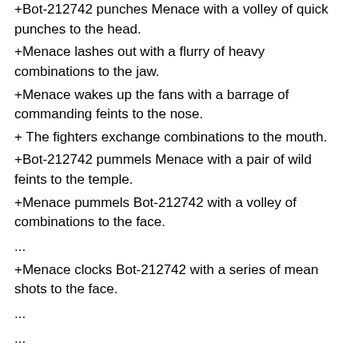+Bot-212742 punches Menace with a volley of quick punches to the head.
+Menace lashes out with a flurry of heavy combinations to the jaw.
+Menace wakes up the fans with a barrage of commanding feints to the nose.
+ The fighters exchange combinations to the mouth.
+Bot-212742 pummels Menace with a pair of wild feints to the temple.
+Menace pummels Bot-212742 with a volley of combinations to the face.
...
+Menace clocks Bot-212742 with a series of mean shots to the face.
...
...
...
...
...